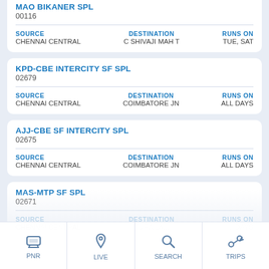MAO BIKANER SPL
00116
SOURCE: CHENNAI CENTRAL | DESTINATION: C SHIVAJI MAH T | RUNS ON: TUE, SAT
KPD-CBE INTERCITY SF SPL
02679
SOURCE: CHENNAI CENTRAL | DESTINATION: COIMBATORE JN | RUNS ON: ALL DAYS
AJJ-CBE SF INTERCITY SPL
02675
SOURCE: CHENNAI CENTRAL | DESTINATION: COIMBATORE JN | RUNS ON: ALL DAYS
MAS-MTP SF SPL
02671
SOURCE: CHENNAI CENTRAL | DESTINATION: (partial) | RUNS ON: (partial)
[Figure (screenshot): Mobile app bottom navigation bar with four tabs: PNR (train icon), LIVE (location pin icon), SEARCH (magnifying glass icon), TRIPS (navigation/trips icon)]